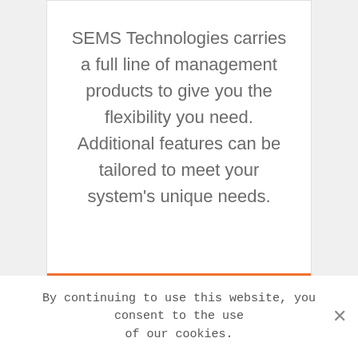SEMS Technologies carries a full line of management products to give you the flexibility you need. Additional features can be tailored to meet your system's unique needs.
Visit SEMS Technologies
By continuing to use this website, you consent to the use of our cookies.